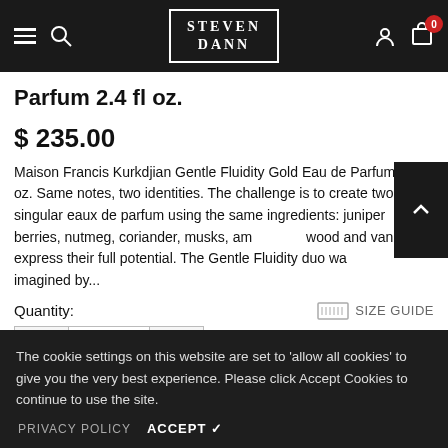STEVEN DANN
Parfum 2.4 fl oz.
$ 235.00
Maison Francis Kurkdjian Gentle Fluidity Gold Eau de Parfum 2.4 fl oz. Same notes, two identities. The challenge is to create two singular eaux de parfum using the same ingredients: juniper berries, nutmeg, coriander, musks, amb wood and vanilla to express their full potential. The Gentle Fluidity duo was imagined by...
Quantity:
SIZE GUIDE
The cookie settings on this website are set to 'allow all cookies' to give you the very best experience. Please click Accept Cookies to continue to use the site.
PRIVACY POLICY   ACCEPT ✓